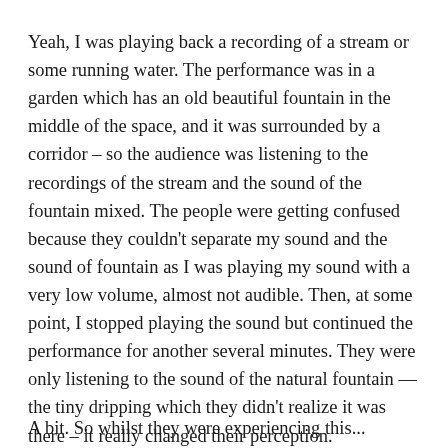Yeah, I was playing back a recording of a stream or some running water. The performance was in a garden which has an old beautiful fountain in the middle of the space, and it was surrounded by a corridor – so the audience was listening to the recordings of the stream and the sound of the fountain mixed. The people were getting confused because they couldn't separate my sound and the sound of fountain as I was playing my sound with a very low volume, almost not audible. Then, at some point, I stopped playing the sound but continued the performance for another several minutes. They were only listening to the sound of the natural fountain — the tiny dripping which they didn't realize it was there – it really changed their perception.
A bit. So whilst they were experiencing this...